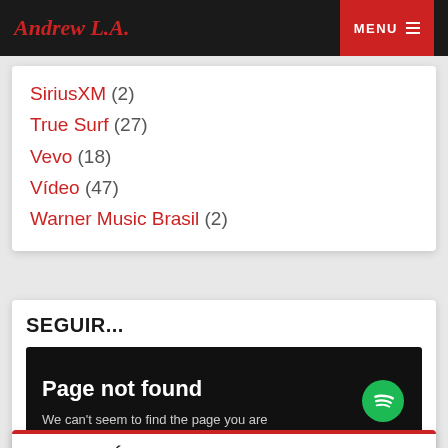Andrew L.A. | MENU
SiriusXM (2)
True Surf (27)
Vevo (18)
Vídeo (47)
Warner Music Brasil (2)
SEGUIR...
[Figure (screenshot): Embedded Spotify widget showing 'Page not found' error: 'We can't seem to find the page you are looking for.' with Spotify logo visible.]
COMENTÁRIOS RECENTES
Como Cooks News | The Official Gaming News